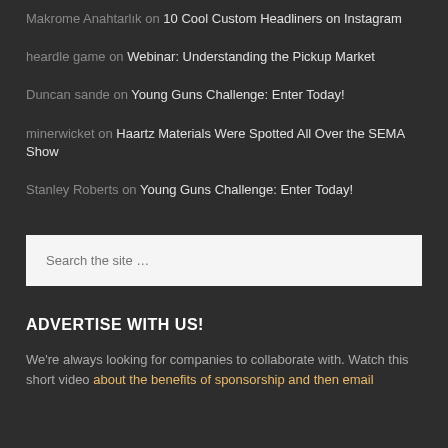Makrome Anahtarlık on 10 Cool Custom Headliners on Instagram
heardle game on Webinar: Understanding the Pickup Market
Duncan sande on Young Guns Challenge: Enter Today!
minerwicket on Haartz Materials Were Spotted All Over the SEMA Show
Stanley Roberts on Young Guns Challenge: Enter Today!
[Figure (other): Search input box with placeholder text 'Search the site ...']
ADVERTISE WITH US!
We're always looking for companies to collaborate with. Watch this short video about the benefits of sponsorship and then email